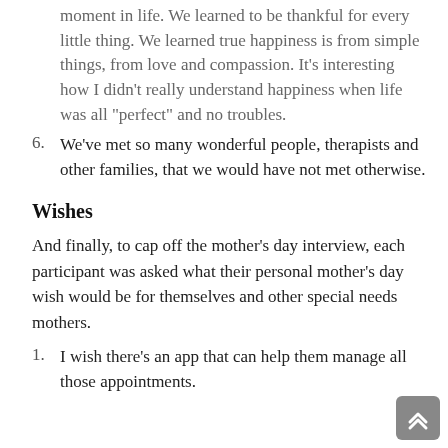moment in life. We learned to be thankful for every little thing. We learned true happiness is from simple things, from love and compassion. It’s interesting how I didn’t really understand happiness when life was all “perfect” and no troubles.
6. We’ve met so many wonderful people, therapists and other families, that we would have not met otherwise.
Wishes
And finally, to cap off the mother’s day interview, each participant was asked what their personal mother’s day wish would be for themselves and other special needs mothers.
1. I wish there’s an app that can help them manage all those appointments.